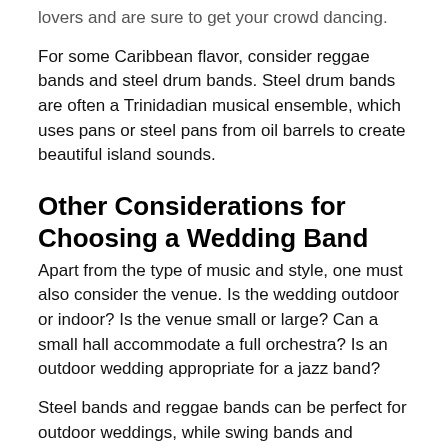lovers and are sure to get your crowd dancing.
For some Caribbean flavor, consider reggae bands and steel drum bands. Steel drum bands are often a Trinidadian musical ensemble, which uses pans or steel pans from oil barrels to create beautiful island sounds.
Other Considerations for Choosing a Wedding Band
Apart from the type of music and style, one must also consider the venue. Is the wedding outdoor or indoor? Is the venue small or large? Can a small hall accommodate a full orchestra? Is an outdoor wedding appropriate for a jazz band?
Steel bands and reggae bands can be perfect for outdoor weddings, while swing bands and quartets, would best suit indoor weddings.